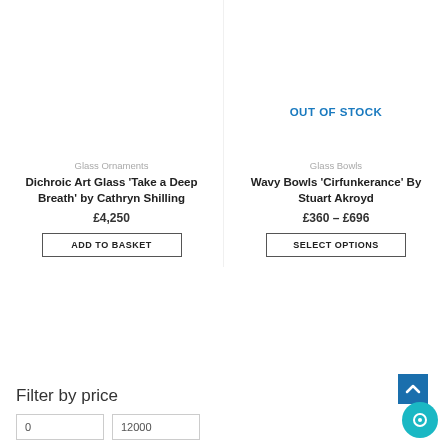Glass Ornaments
Dichroic Art Glass 'Take a Deep Breath' by Cathryn Shilling
£4,250
ADD TO BASKET
OUT OF STOCK
Glass Bowls
Wavy Bowls 'Cirfunkerance' By Stuart Akroyd
£360 – £696
SELECT OPTIONS
Filter by price
0
12000